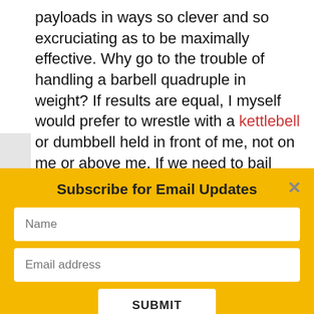payloads in ways so clever and so excruciating as to be maximally effective. Why go to the trouble of handling a barbell quadruple in weight? If results are equal, I myself would prefer to wrestle with a kettlebell or dumbbell held in front of me, not on me or above me. If we need to bail mid-rep (it happens occasionally when you push with all your
Subscribe for Email Updates
Name
Email address
SUBMIT